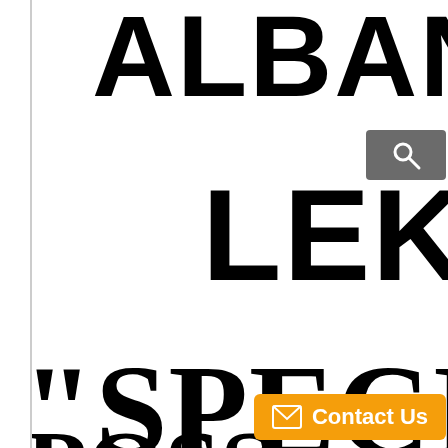ALBANIA
[Figure (screenshot): Search button with magnifying glass icon on grey background]
LEKE
"SPECIM
POSS
[Figure (screenshot): Contact Us button with envelope icon on orange background]